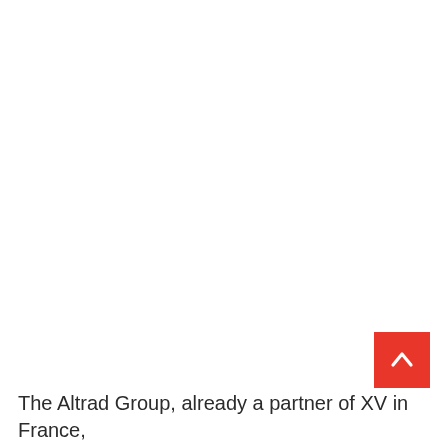[Figure (other): Red scroll-to-top button with white upward chevron arrow, positioned in the lower right area of the page]
The Altrad Group, already a partner of XV in France,